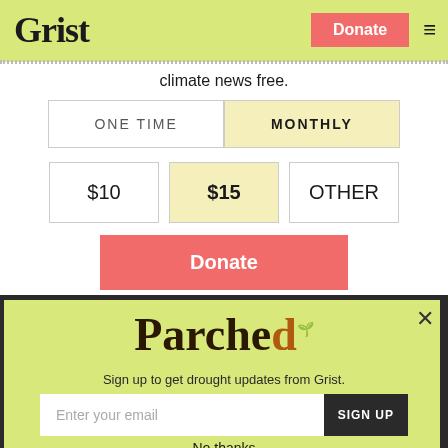Grist
climate news free.
| ONE TIME | MONTHLY |
| --- | --- |
$10  $15  OTHER
Donate
Parched
Sign up to get drought updates from Grist.
Enter your email  SIGN UP
No thanks